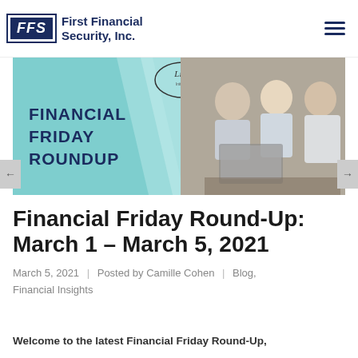FFS First Financial Security, Inc.
[Figure (illustration): Financial Friday Roundup banner with LiSA Initiative logo. Left half has teal background with text 'FINANCIAL FRIDAY ROUNDUP'. Right half shows three people — an older couple and a financial advisor — reviewing documents on a laptop.]
Financial Friday Round-Up: March 1 – March 5, 2021
March 5, 2021 | Posted by Camille Cohen | Blog, Financial Insights
Welcome to the latest Financial Friday Round-Up,